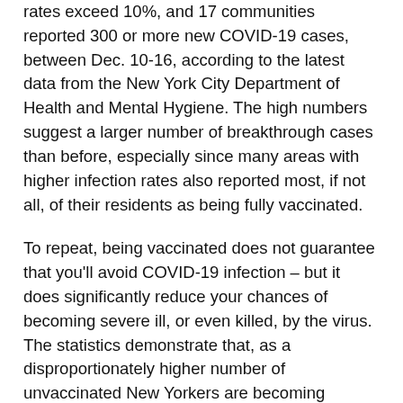rates exceed 10%, and 17 communities reported 300 or more new COVID-19 cases, between Dec. 10-16, according to the latest data from the New York City Department of Health and Mental Hygiene. The high numbers suggest a larger number of breakthrough cases than before, especially since many areas with higher infection rates also reported most, if not all, of their residents as being fully vaccinated.
To repeat, being vaccinated does not guarantee that you'll avoid COVID-19 infection – but it does significantly reduce your chances of becoming severe ill, or even killed, by the virus. The statistics demonstrate that, as a disproportionately higher number of unvaccinated New Yorkers are becoming infected by COVID-19, and winding up in the hospital, than vaccinated New Yorkers with breakthrough cases.
Up until this past week, COVID-19 cases had been steadily increasing across New York, as the colder weather set in and more activities moved inside. The arrival of the Omicron variant –